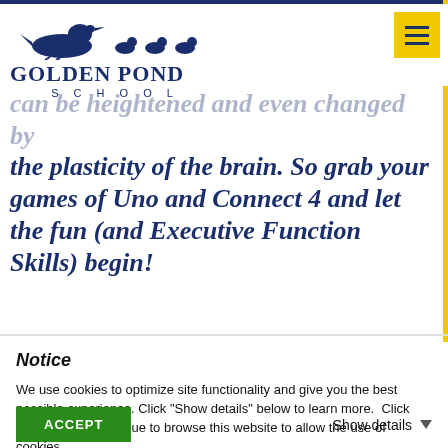Golden Pond School
the plasticity of the brain. So grab your games of Uno and Connect 4 and let the fun (and Executive Function Skills) begin!
Notice
We use cookies to optimize site functionality and give you the best possible experience. Click "Show details" below to learn more.  Click "ACCEPT" or continue to browse this website to allow the use of cookies.
ACCEPT
Show details